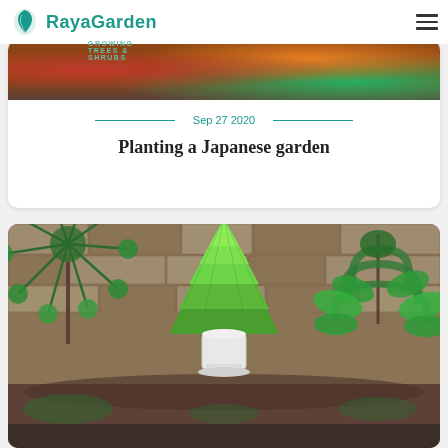RayaGarden — GROWING TREES & SHRUBS
Sep 27 2020
Planting a Japanese garden
[Figure (photo): Close-up photo of various conifer trees and shrubs including pine, arborvitae (pyramidal green conifer), and weeping spruce planted in white pots against a stone wall background — Japanese-style garden planting.]